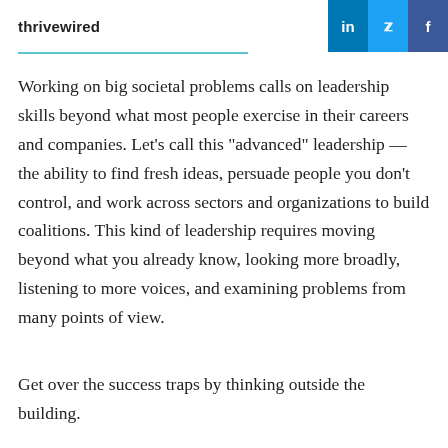thrivewired
Working on big societal problems calls on leadership skills beyond what most people exercise in their careers and companies. Let's call this "advanced" leadership — the ability to find fresh ideas, persuade people you don't control, and work across sectors and organizations to build coalitions. This kind of leadership requires moving beyond what you already know, looking more broadly, listening to more voices, and examining problems from many points of view.
Get over the success traps by thinking outside the building.